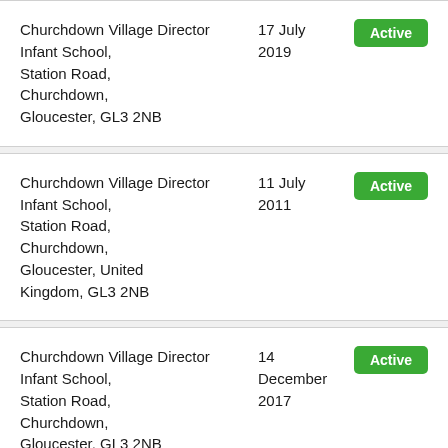| Organisation / Address | Date | Status |
| --- | --- | --- |
| Churchdown Village Infant School, Station Road, Churchdown, Gloucester, GL3 2NB | 17 July 2019 | Active |
| Churchdown Village Infant School, Station Road, Churchdown, Gloucester, United Kingdom, GL3 2NB | 11 July 2011 | Active |
| Churchdown Village Infant School, Station Road, Churchdown, Gloucester, GL3 2NB | 14 December 2017 | Active |
| Churchdown Village Infant School, ... | 11 July ... | Active |